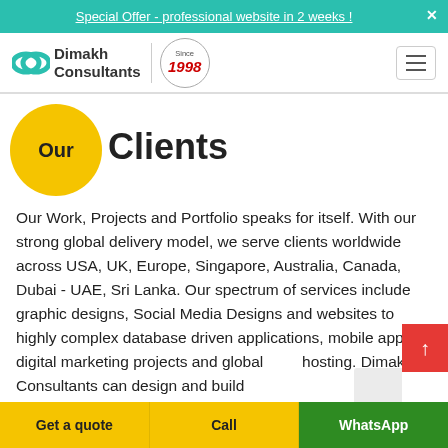Special Offer - professional website in 2 weeks !
[Figure (logo): Dimakh Consultants logo with teal double-arc icon, company name, and Since 1998 badge]
Our Clients
Our Work, Projects and Portfolio speaks for itself. With our strong global delivery model, we serve clients worldwide across USA, UK, Europe, Singapore, Australia, Canada, Dubai - UAE, Sri Lanka. Our spectrum of services include graphic designs, Social Media Designs and websites to highly complex database driven applications, mobile apps, digital marketing projects and global hosting. Dimakh Consultants can design and build
Get a quote | Call | WhatsApp